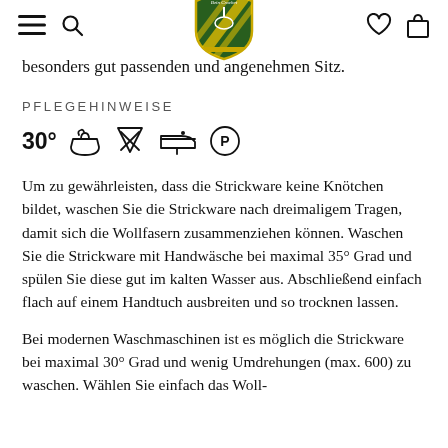[Logo: Bein Crochet shield logo with hamburger menu, search, heart, and bag icons]
besonders gut passenden und angenehmen Sitz.
PFLEGEHINWEISE
[Figure (infographic): Care label symbols: 30° handwash, do not bleach, low iron, dry clean professional]
Um zu gewährleisten, dass die Strickware keine Knötchen bildet, waschen Sie die Strickware nach dreimaligem Tragen, damit sich die Wollfasern zusammenziehen können. Waschen Sie die Strickware mit Handwäsche bei maximal 35° Grad und spülen Sie diese gut im kalten Wasser aus. Abschließend einfach flach auf einem Handtuch ausbreiten und so trocknen lassen.
Bei modernen Waschmaschinen ist es möglich die Strickware bei maximal 30° Grad und wenig Umdrehungen (max. 600) zu waschen. Wählen Sie einfach das Woll-